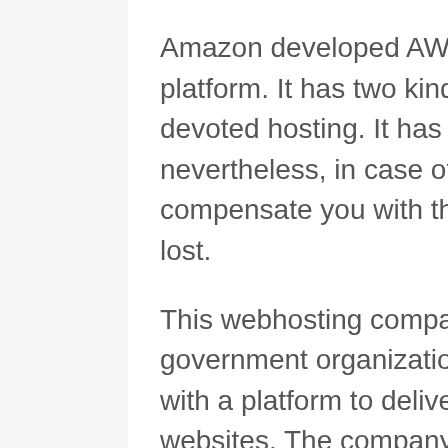Amazon developed AWS in 2002 as a cloud-based platform. It has two kinds of cloud hosting standard and devoted hosting. It has an average uptime of 99.99%: nevertheless, in case of any downside, the firm will compensate you with the loss depending upon the time lost.
This webhosting company supplies companies, government organizations, and personal institutions with a platform to deliver their web applications and websites. The company uses a vast array of hosting options for individuals to select from.
AWS has different pricing arrangements...